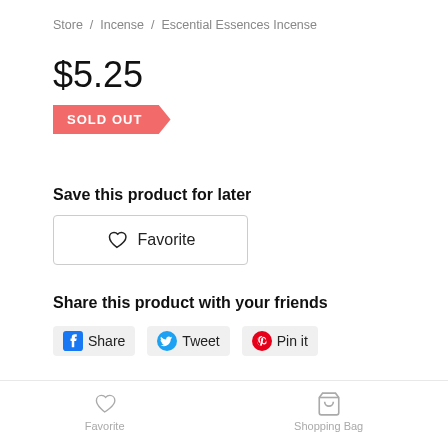Store / Incense / Escential Essences Incense
$5.25
SOLD OUT
Save this product for later
Favorite
Share this product with your friends
Share   Tweet   Pin it
Favorite   Shopping Bag